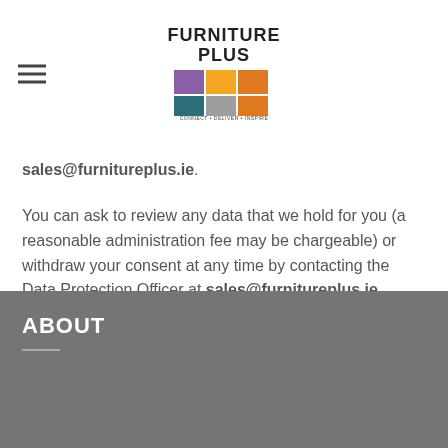[Figure (logo): Furniture Plus logo with colored blocks and tagline CONNECT DELIVER INSPIRE]
sales@furnitureplus.ie.
You can ask to review any data that we hold for you (a reasonable administration fee may be chargeable) or withdraw your consent at any time by contacting the Data Protection Officer at sales@furnitureplus.ie.
If you have any more questions or concerns please email us & we will be happy to answer your questions.
ABOUT